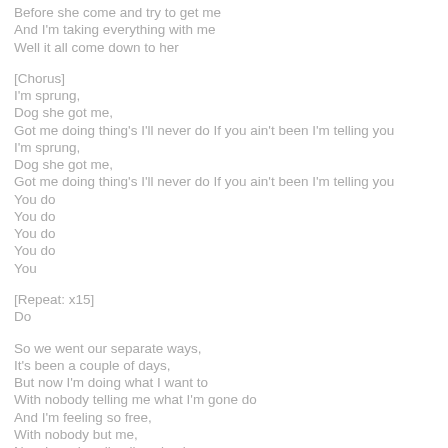Before she come and try to get me
And I'm taking everything with me
Well it all come down to her
[Chorus]
I'm sprung,
Dog she got me,
Got me doing thing's I'll never do If you ain't been I'm telling you
I'm sprung,
Dog she got me,
Got me doing thing's I'll never do If you ain't been I'm telling you
You do
You do
You do
You do
You
[Repeat: x15]
Do
So we went our separate ways,
It's been a couple of days,
But now I'm doing what I want to
With nobody telling me what I'm gone do
And I'm feeling so free,
With nobody but me,
Now I can handle all my business
All my fellas can I get a witness
But I'm feeling kinda lonely
On top of that I'm kinda horny
And I gotta get back to her,
Now I'm leaving quickly,
Before she come and try to get me